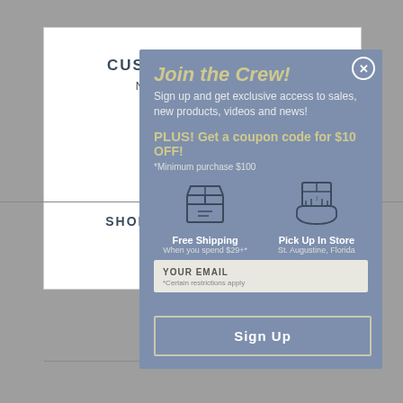CUSTOMER REVIEWS
No reviews yet - be the first!
Share the stoke!
SHOP WITH CONFIDENCE
Join the Crew!
Sign up and get exclusive access to sales, new products, videos and news!
PLUS! Get a coupon code for $10 OFF!
*Minimum purchase $100
[Figure (illustration): Box/package icon representing Free Shipping]
Free Shipping
When you spend $29+*
*Certain restrictions apply
[Figure (illustration): Hand holding a box icon representing Pick Up In Store]
Pick Up In Store
St. Augustine, Florida
YOUR EMAIL
Sign Up